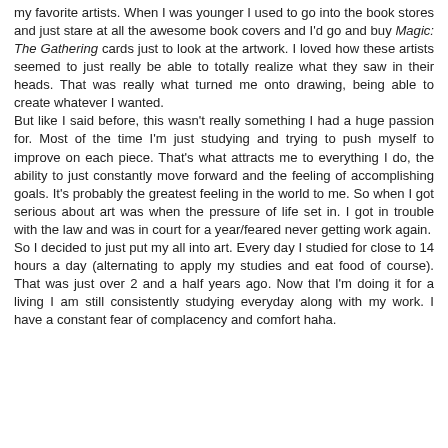my favorite artists. When I was younger I used to go into the book stores and just stare at all the awesome book covers and I'd go and buy Magic: The Gathering cards just to look at the artwork. I loved how these artists seemed to just really be able to totally realize what they saw in their heads. That was really what turned me onto drawing, being able to create whatever I wanted.
But like I said before, this wasn't really something I had a huge passion for. Most of the time I'm just studying and trying to push myself to improve on each piece. That's what attracts me to everything I do, the ability to just constantly move forward and the feeling of accomplishing goals. It's probably the greatest feeling in the world to me. So when I got serious about art was when the pressure of life set in. I got in trouble with the law and was in court for a year/feared never getting work again.
So I decided to just put my all into art. Every day I studied for close to 14 hours a day (alternating to apply my studies and eat food of course). That was just over 2 and a half years ago. Now that I'm doing it for a living I am still consistently studying everyday along with my work. I have a constant fear of complacency and comfort haha.